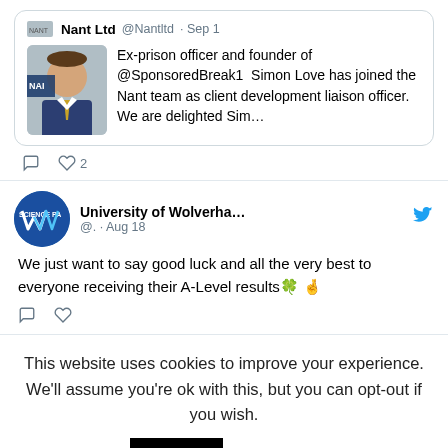[Figure (screenshot): Tweet from Nant Ltd @Nantltd Sep 1: Ex-prison officer and founder of @SponsoredBreak1 Simon Love has joined the Nant team as client development liaison officer. We are delighted Sim... with 2 likes]
[Figure (screenshot): Tweet from University of Wolverha... @. Aug 18 with Twitter bird icon: We just want to say good luck and all the very best to everyone receiving their A-Level results with shamrock and raised fist emojis. No likes shown.]
This website uses cookies to improve your experience. We'll assume you're ok with this, but you can opt-out if you wish. Accept Read More